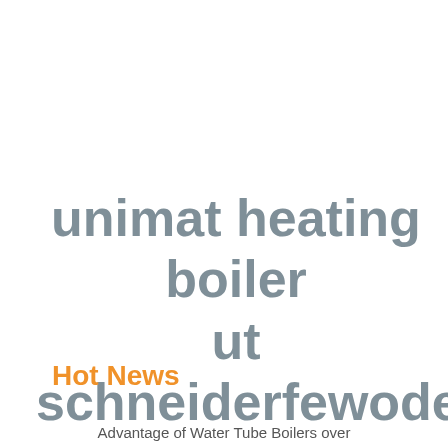unimat heating boiler ut schneiderfewode
Hot News
Advantage of Water Tube Boilers over